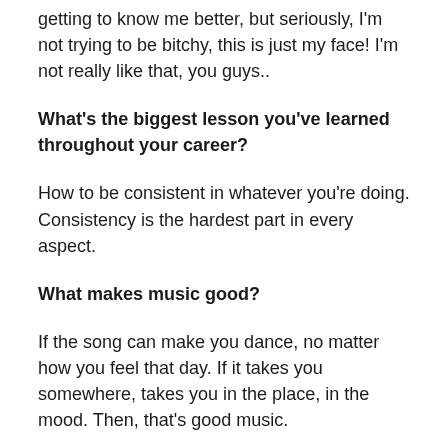getting to know me better, but seriously, I'm not trying to be bitchy, this is just my face! I'm not really like that, you guys..
What's the biggest lesson you've learned throughout your career?
How to be consistent in whatever you're doing. Consistency is the hardest part in every aspect.
What makes music good?
If the song can make you dance, no matter how you feel that day. If it takes you somewhere, takes you in the place, in the mood. Then, that's good music.